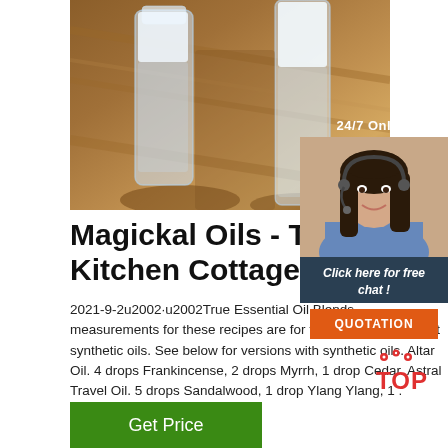[Figure (photo): Two glass bottles/vials on a wooden surface, containing white powdery substance]
[Figure (photo): 24/7 Online customer service representative widget with woman wearing headset, 'Click here for free chat!' text and orange QUOTATION button]
Magickal Oils - The Kitchen Cottage
2021-9-2u2002·u2002True Essential Oil Blends. measurements for these recipes are for true essential oils, not synthetic oils. See below for versions with synthetic oils. Altar Oil. 4 drops Frankincense, 2 drops Myrrh, 1 drop Cedar. Astral Travel Oil. 5 drops Sandalwood, 1 drop Ylang Ylang, 1 .
[Figure (logo): AstralTOP logo with red dots and red text]
Get Price